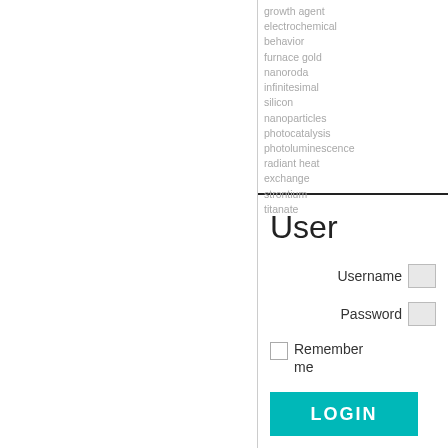growth agent electrochemical behavior furnace gold nanoroda infinitesimal silicon nanoparticles photocatalysis photoluminescence radiant heat exchange strontium titanate
User
Username
Password
Remember me
LOGIN